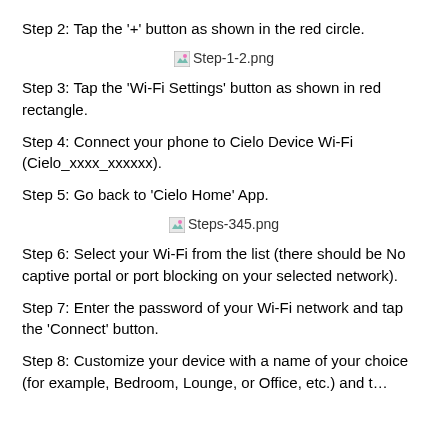Step 2: Tap the '+' button as shown in the red circle.
[Figure (screenshot): Image placeholder: Step-1-2.png]
Step 3: Tap the 'Wi-Fi Settings' button as shown in red rectangle.
Step 4: Connect your phone to Cielo Device Wi-Fi (Cielo_xxxx_xxxxxx).
Step 5: Go back to 'Cielo Home' App.
[Figure (screenshot): Image placeholder: Steps-345.png]
Step 6: Select your Wi-Fi from the list (there should be No captive portal or port blocking on your selected network).
Step 7: Enter the password of your Wi-Fi network and tap the 'Connect' button.
Step 8: Customize your device with a name of your choice (for example, Bedroom, Lounge, or Office, etc.) and tap...